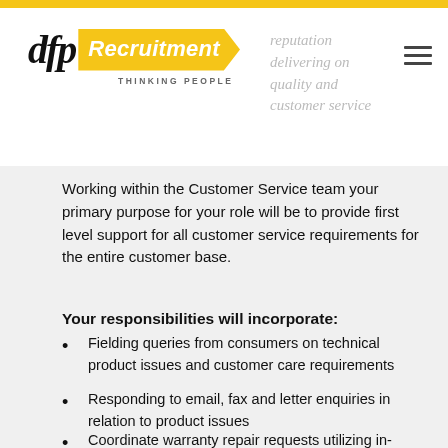[Figure (logo): DFP Recruitment logo with yellow badge and 'Thinking People' tagline]
reputation delivering on quality and customer service
Working within the Customer Service team your primary purpose for your role will be to provide first level support for all customer service requirements for the entire customer base.
Your responsibilities will incorporate:
Fielding queries from consumers on technical product issues and customer care requirements
Responding to email, fax and letter enquiries in relation to product issues
Coordinate warranty repair requests utilizing in-house computer systems
Coordinate Engineers and Technical Service